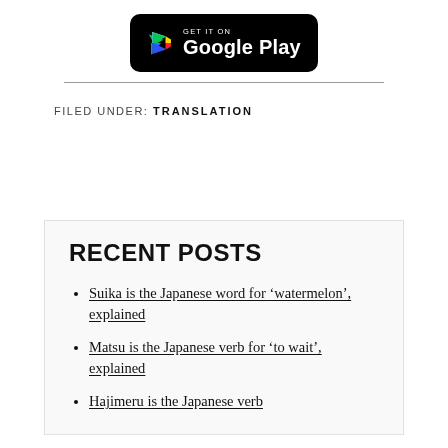[Figure (logo): Google Play Store badge with black background, colorful play button icon, text 'GET IT ON Google Play' in white]
FILED UNDER: TRANSLATION
RECENT POSTS
Suika is the Japanese word for 'watermelon', explained
Matsu is the Japanese verb for 'to wait', explained
Hajimeru is the Japanese verb